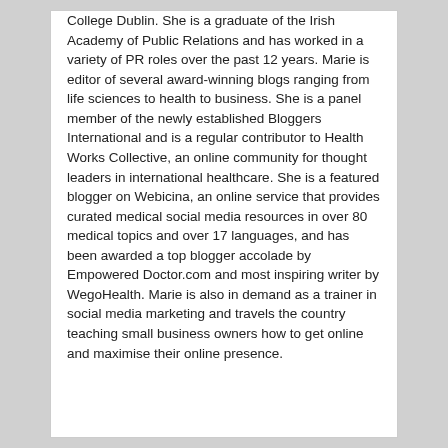College Dublin. She is a graduate of the Irish Academy of Public Relations and has worked in a variety of PR roles over the past 12 years. Marie is editor of several award-winning blogs ranging from life sciences to health to business. She is a panel member of the newly established Bloggers International and is a regular contributor to Health Works Collective, an online community for thought leaders in international healthcare. She is a featured blogger on Webicina, an online service that provides curated medical social media resources in over 80 medical topics and over 17 languages, and has been awarded a top blogger accolade by Empowered Doctor.com and most inspiring writer by WegoHealth. Marie is also in demand as a trainer in social media marketing and travels the country teaching small business owners how to get online and maximise their online presence.